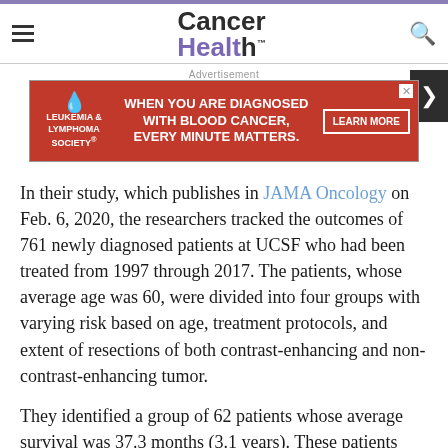Cancer Health
[Figure (screenshot): Leukemia & Lymphoma Society advertisement banner: 'WHEN YOU ARE DIAGNOSED WITH BLOOD CANCER, EVERY MINUTE MATTERS.' with LEARN MORE button]
In their study, which publishes in JAMA Oncology on Feb. 6, 2020, the researchers tracked the outcomes of 761 newly diagnosed patients at UCSF who had been treated from 1997 through 2017. The patients, whose average age was 60, were divided into four groups with varying risk based on age, treatment protocols, and extent of resections of both contrast-enhancing and non-contrast-enhancing tumor.
They identified a group of 62 patients whose average survival was 37.3 months (3.1 years). These patients had IDH-mutant tumors, or were under 65 with IDH-wild-type tumors and had undergone both radiation and chemotherapy and undergone maximally aggressive resections of both contrast-enhancing and non-contrast-enhancing tumor.